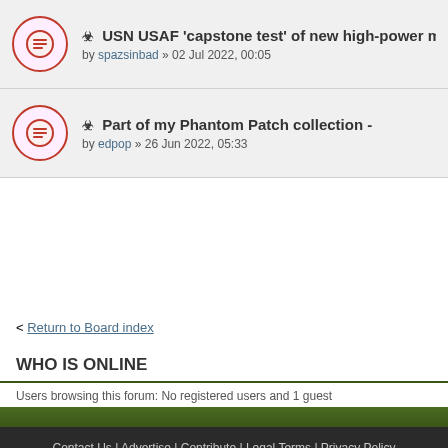USN USAF 'capstone test' of new high-power microwave miss... by spazsinbad » 02 Jul 2022, 00:05
Part of my Phantom Patch collection - by edpop » 26 Jun 2022, 05:33
< Return to Board index
WHO IS ONLINE
Users browsing this forum: No registered users and 1 guest
Contact Us | Advertise | Contribute | Legal Terms | Privacy Policy Copyright © 2022. All rights reserved.